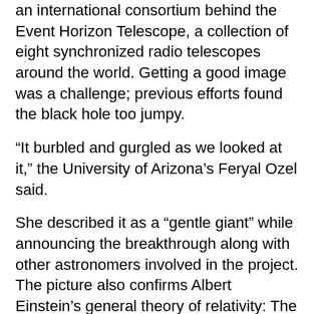an international consortium behind the Event Horizon Telescope, a collection of eight synchronized radio telescopes around the world. Getting a good image was a challenge; previous efforts found the black hole too jumpy.
“It burbled and gurgled as we looked at it,” the University of Arizona’s Feryal Ozel said.
She described it as a “gentle giant” while announcing the breakthrough along with other astronomers involved in the project. The picture also confirms Albert Einstein’s general theory of relativity: The black hole is precisely the size that Einstein’s equations dictate. It is about the size of the orbit of Mercury around our sun.
Black holes gobble up galactic material but Ozel said this one is “eating very little.” It’s the equivalent to a person eating a single grain of rice over millions of years, another astronomer said.